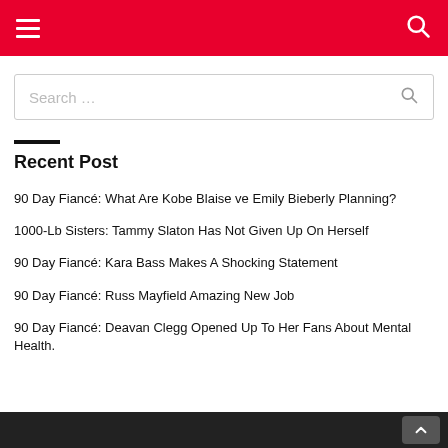Navigation header with hamburger menu and search icon
Search …
Recent Post
90 Day Fiancé: What Are Kobe Blaise ve Emily Bieberly Planning?
1000-Lb Sisters: Tammy Slaton Has Not Given Up On Herself
90 Day Fiancé: Kara Bass Makes A Shocking Statement
90 Day Fiancé: Russ Mayfield Amazing New Job
90 Day Fiancé: Deavan Clegg Opened Up To Her Fans About Mental Health.
Scroll to top button